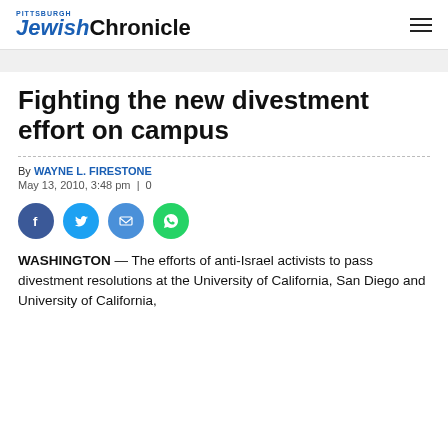Pittsburgh JewishChronicle
Fighting the new divestment effort on campus
By WAYNE L. FIRESTONE
May 13, 2010, 3:48 pm | 0
[Figure (infographic): Social sharing icons: Facebook (blue circle), Twitter (light blue circle), Email (blue circle), WhatsApp (green circle)]
WASHINGTON — The efforts of anti-Israel activists to pass divestment resolutions at the University of California, San Diego and University of California, Berkeley, are troubling developments for...